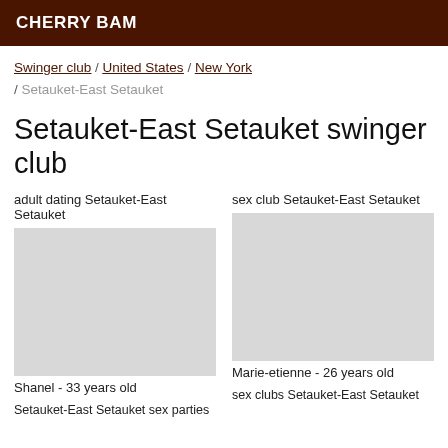CHERRY BAM
Swinger club / United States / New York / Setauket-East Setauket
Setauket-East Setauket swinger club
adult dating Setauket-East Setauket
sex club Setauket-East Setauket
Shanel - 33 years old
Marie-etienne - 26 years old
Setauket-East Setauket sex parties
sex clubs Setauket-East Setauket